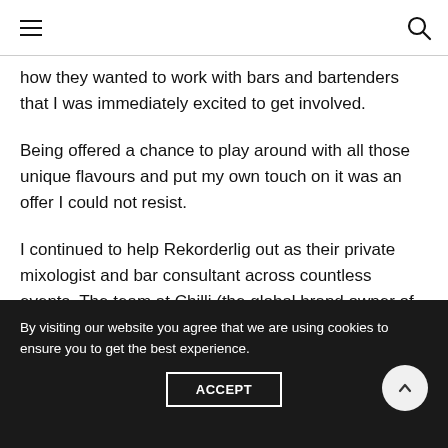how they wanted to work with bars and bartenders that I was immediately excited to get involved.
Being offered a chance to play around with all those unique flavours and put my own touch on it was an offer I could not resist.
I continued to help Rekorderlig out as their private mixologist and bar consultant across countless events. The team at Chilli (the global brand owner of Rekorderlig Cider) were always encouraging me to be creative and innovative
By visiting our website you agree that we are using cookies to ensure you to get the best experience.
ACCEPT